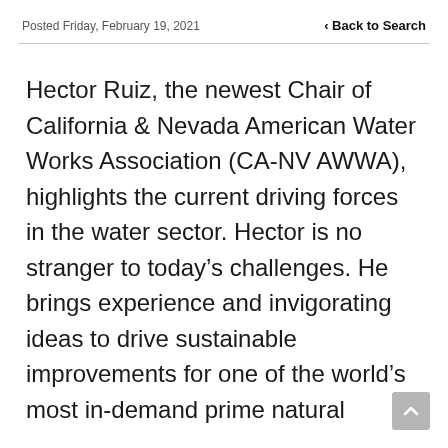Posted Friday, February 19, 2021    < Back to Search
Hector Ruiz, the newest Chair of California & Nevada American Water Works Association (CA-NV AWWA), highlights the current driving forces in the water sector. Hector is no stranger to today’s challenges. He brings experience and invigorating ideas to drive sustainable improvements for one of the world’s most in-demand prime natural